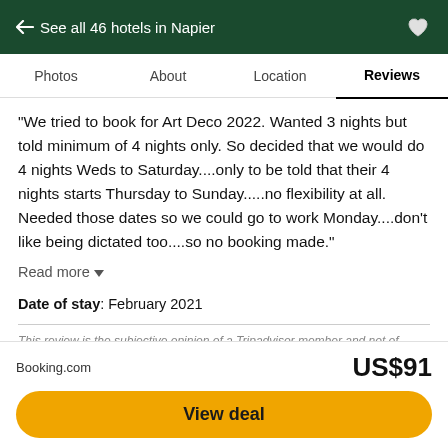← See all 46 hotels in Napier
Photos   About   Location   Reviews
“We tried to book for Art Deco 2022. Wanted 3 nights but told minimum of 4 nights only. So decided that we would do 4 nights Weds to Saturday....only to be told that their 4 nights starts Thursday to Sunday.....no flexibility at all. Needed those dates so we could go to work Monday....don’t like being dictated too....so no booking made.”
Read more ▼
Date of stay: February 2021
This review is the subjective opinion of a Tripadvisor member and not of Tripadvisor LLC. Tripadvisor performs checks on reviews.
Booking.com   US$91
View deal